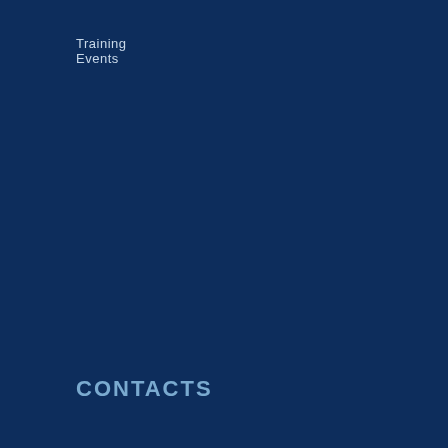Training Events
NEWS
CONTACTS
[Figure (screenshot): KhS Group modal/popup dialog on dark blue background with world map. Contains logo with globe icon and 'KhS GROUP' title in header, followed by list items: KhS Services Ltd., KhS Know-How Systems GmbH, KhS Know-How Systems Sas, KhS Italia - Il Carrozziere Lampo S.r.l., KHS Group. Close button (x) in top right.]
KhS Services Ltd.
KhS Know-How Systems GmbH
KhS Know-How Systems Sas
KhS Italia - Il Carrozziere Lampo S.r.l.
KHS Group